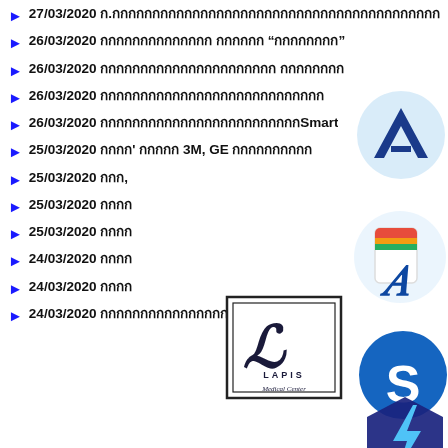27/03/2020 ก.กกกกกกกกกกกกกกกกกกกกกกกกกกกกกกกกกกกกกกกกกกกก
26/03/2020 กกกกกกกกกกกกกก กกกกกก “กกกกกกกก”
26/03/2020 กกกกกกกกกกกกกกกกกกกกกก กกกกกกกก
26/03/2020 กกกกกกกกกกกกกกกกกกกกกกกกกกกก
26/03/2020 กกกกกกกกกกกกกกกกกกกกกกกกกกSmart
25/03/2020 กกกก' กกกกก 3M, GE กกกกกกกกกก
25/03/2020 กกก,
25/03/2020 กกกก
25/03/2020 กกกก
24/03/2020 กกกก
24/03/2020 กกกก
24/03/2020 กกกกกกกกกกกกกกกกกกกกกกกกกกกกก
[Figure (logo): Light blue circle with white chevron/A mark - Arise logo]
[Figure (logo): Circle with stylized A and colorful app icon]
[Figure (logo): Blue circle with white S letter]
[Figure (logo): LAPIS Medical Center logo in rectangular border with script L and text]
[Figure (logo): Dark hexagon shape with blue lightning bolt - Messenger logo]